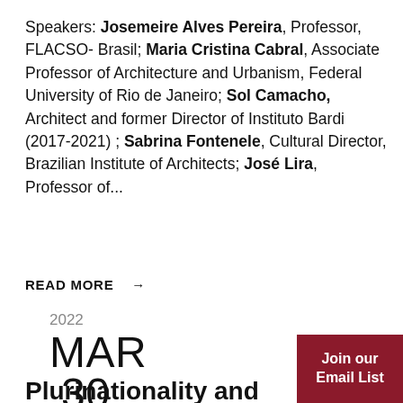Speakers: Josemeire Alves Pereira, Professor, FLACSO- Brasil; Maria Cristina Cabral, Associate Professor of Architecture and Urbanism, Federal University of Rio de Janeiro; Sol Camacho, Architect and former Director of Instituto Bardi (2017-2021) ; Sabrina Fontenele, Cultural Director, Brazilian Institute of Architects; José Lira, Professor of...
READ MORE →
2022
MAR
30
Join our Email List
Plurinationality and